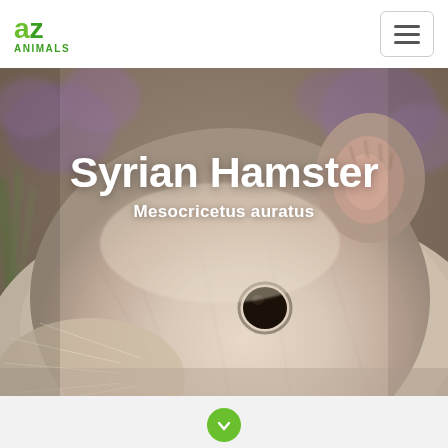AZ Animals
[Figure (photo): Close-up photo of a Syrian Hamster (cream/white fur, dark eye, whiskers visible) with blurred purple flowers and green background. The hamster's face fills most of the frame.]
Syrian Hamster
Mesocricetus auratus